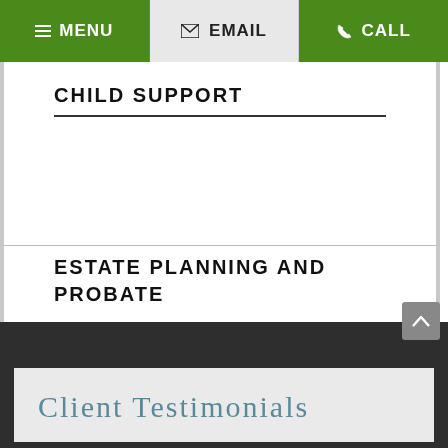≡ MENU   ✉ EMAIL   ✆ CALL
CHILD SUPPORT
ESTATE PLANNING AND PROBATE
Client Testimonials